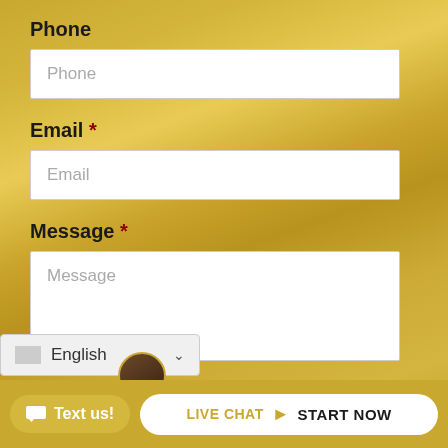Phone
Phone (placeholder)
Email *
Email (placeholder)
Message *
Message (placeholder)
English (dropdown)
Text us!
LIVE CHAT  START NOW